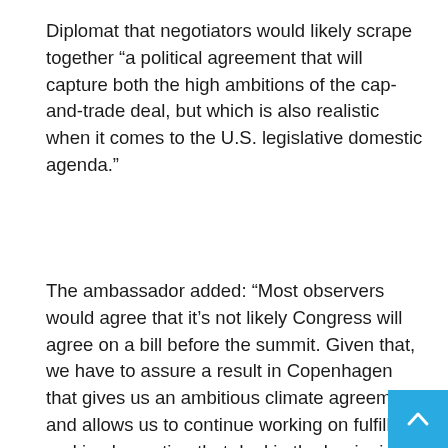Diplomat that negotiators would likely scrape together “a political agreement that will capture both the high ambitions of the cap-and-trade deal, but which is also realistic when it comes to the U.S. legislative domestic agenda.”
The ambassador added: “Most observers would agree that it’s not likely Congress will agree on a bill before the summit. Given that, we have to assure a result in Copenhagen that gives us an ambitious climate agreement and allows us to continue working on fulfilling and implementing that deal in the beginning of next year.”
That’s not exactly what many people had in mind for the widely anticipated conference, which has long been billed as the defining moment to finally “seal the deal” and avert a catastrophic climate crisis in the near future. But in the wake of reluctance by a broad range of countries to make